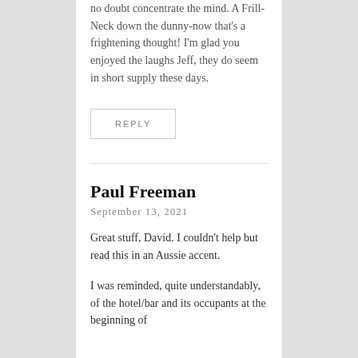no doubt concentrate the mind. A Frill-Neck down the dunny-now that’s a frightening thought! I’m glad you enjoyed the laughs Jeff, they do seem in short supply these days.
REPLY
Paul Freeman
September 13, 2021
Great stuff, David. I couldn’t help but read this in an Aussie accent.
I was reminded, quite understandably, of the hotel/bar and its occupants at the beginning of